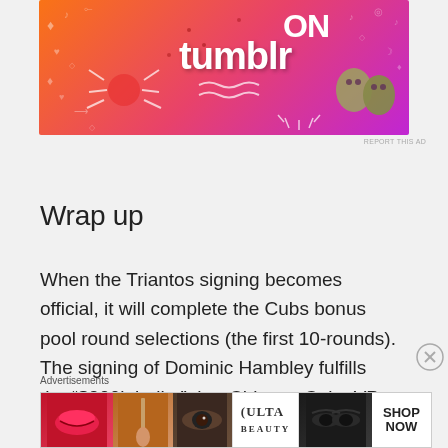[Figure (illustration): Tumblr advertisement banner with orange-to-pink-to-purple gradient background, white doodles, text 'ON tumblr' in white/black, cartoon spider and leaf characters]
REPORT THIS AD
Wrap up
When the Triantos signing becomes official, it will complete the Cubs bonus pool round selections (the first 10-rounds). The signing of Dominic Hambley fulfills the “$200k bullet” that Chicago Cubs VP Dan
Advertisements
[Figure (photo): ULTA beauty advertisement showing close-up images of lips with red lipstick, makeup brush, eye with mascara, ULTA logo, dramatic eye makeup, and SHOP NOW text]